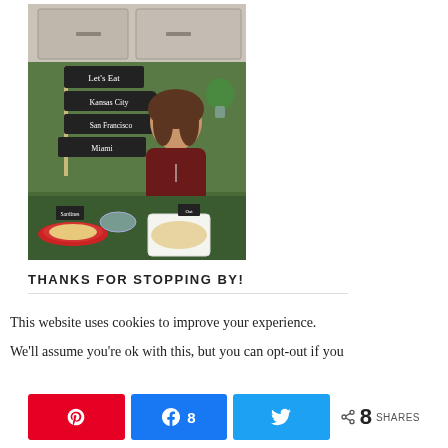[Figure (photo): A woman standing behind a table with food dishes, directional signs reading 'Let's Eat', 'Kansas City', 'San Francisco', 'Miami' on a post, in a kitchen set environment.]
THANKS FOR STOPPING BY!
This website uses cookies to improve your experience. We'll assume you're ok with this, but you can opt-out if you